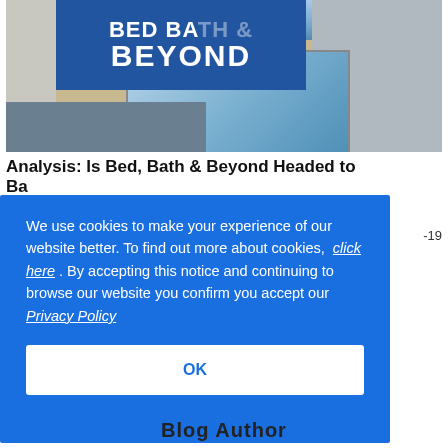[Figure (photo): Exterior photo of a Bed Bath & Beyond store with blue signage, large windows, beige facade, and a white SUV in the parking lot]
Analysis: Is Bed, Bath & Beyond Headed to Bankruptcy?
We use cookies to make your experience of our website better. To find out more about cookies, click here . By accepting this notice and continuing to browse our website you confirm you accept our Privacy Policy
OK
-19
Blog Author